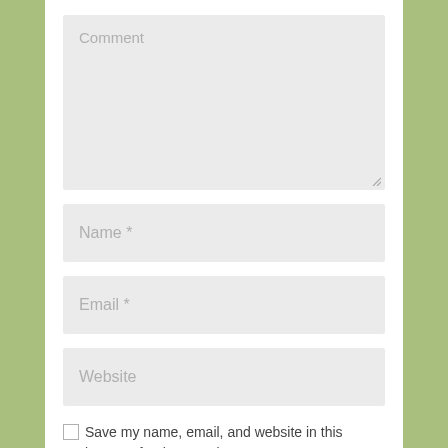[Figure (screenshot): Web comment form with fields for Comment (textarea), Name, Email, Website, a checkbox for saving info in browser, and a submit button. Green sidebar visible on left and right.]
Comment
Name *
Email *
Website
Save my name, email, and website in this browser for the next time I comment.